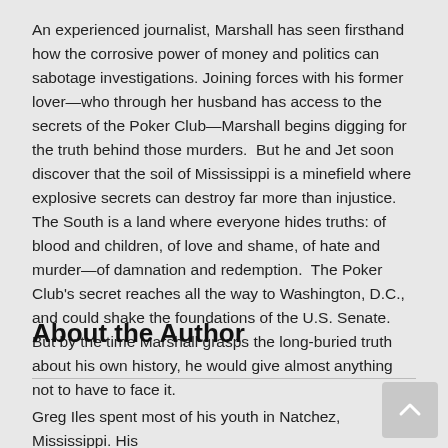An experienced journalist, Marshall has seen firsthand how the corrosive power of money and politics can sabotage investigations. Joining forces with his former lover—who through her husband has access to the secrets of the Poker Club—Marshall begins digging for the truth behind those murders.  But he and Jet soon discover that the soil of Mississippi is a minefield where explosive secrets can destroy far more than injustice.  The South is a land where everyone hides truths: of blood and children, of love and shame, of hate and murder—of damnation and redemption.  The Poker Club's secret reaches all the way to Washington, D.C., and could shake the foundations of the U.S. Senate.  But by the time Marshall grasps the long-buried truth about his own history, he would give almost anything not to have to face it.
About the Author
Greg Iles spent most of his youth in Natchez, Mississippi. His